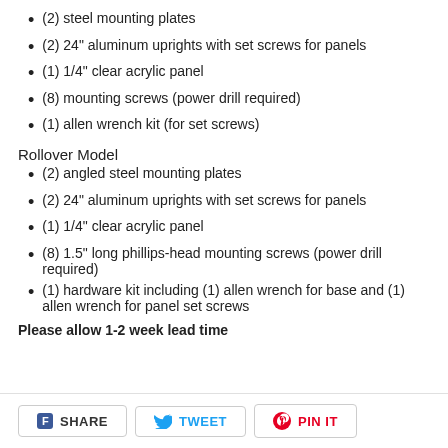(2) steel mounting plates
(2) 24" aluminum uprights with set screws for panels
(1) 1/4" clear acrylic panel
(8) mounting screws (power drill required)
(1) allen wrench kit (for set screws)
Rollover Model
(2) angled steel mounting plates
(2) 24" aluminum uprights with set screws for panels
(1) 1/4" clear acrylic panel
(8) 1.5" long phillips-head mounting screws (power drill required)
(1) hardware kit including (1) allen wrench for base and (1) allen wrench for panel set screws
Please allow 1-2 week lead time